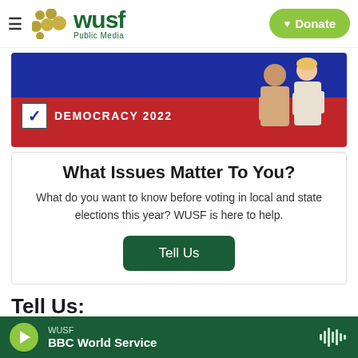WUSF Public Media — Donate
[Figure (illustration): Democracy 2022 banner with blue and red background and two illustrated figures]
What Issues Matter To You?
What do you want to know before voting in local and state elections this year? WUSF is here to help.
Tell Us
Tell Us:
WUSF — BBC World Service